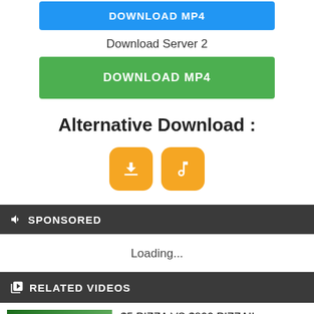[Figure (screenshot): Blue DOWNLOAD MP4 button (partially visible at top)]
Download Server 2
[Figure (screenshot): Green DOWNLOAD MP4 button]
Alternative Download :
[Figure (screenshot): Two orange icon buttons: download icon and music note icon]
SPONSORED
Loading...
RELATED VIDEOS
$5 PIZZA VS $800 PIZZA!! Everything Is BIGGER I...